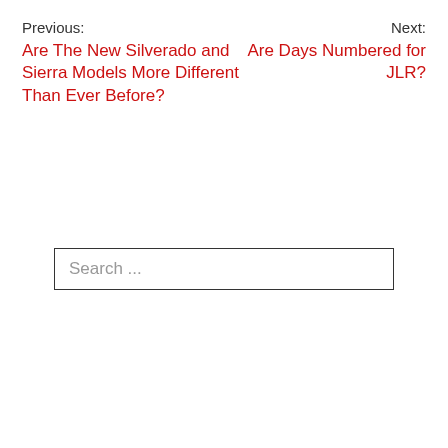Previous: Are The New Silverado and Sierra Models More Different Than Ever Before?
Next: Are Days Numbered for JLR?
Search ...